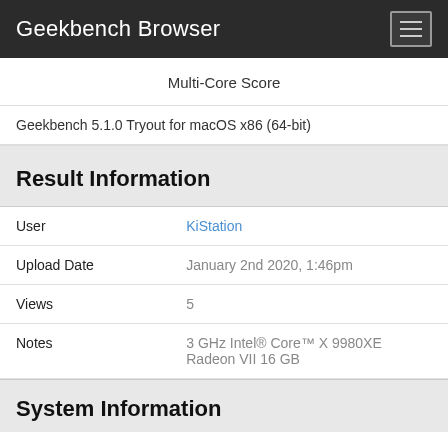Geekbench Browser
Multi-Core Score
Geekbench 5.1.0 Tryout for macOS x86 (64-bit)
Result Information
| User | KiStation |
| Upload Date | January 2nd 2020, 1:46pm |
| Views | 5 |
| Notes | 3 GHz Intel® Core™ X 9980XE Radeon VII 16 GB |
System Information